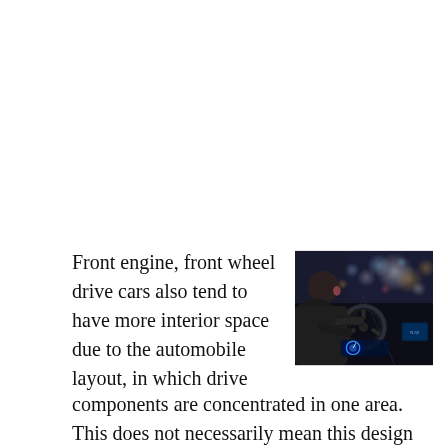[Figure (photo): A person driving a car at night, viewed from behind the driver's shoulder. The driver is holding the steering wheel with both hands. Dashboard lights and city bokeh lights are visible through the windshield.]
Front engine, front wheel drive cars also tend to have more interior space due to the automobile layout, in which drive components are concentrated in one area. This does not necessarily mean this design is the